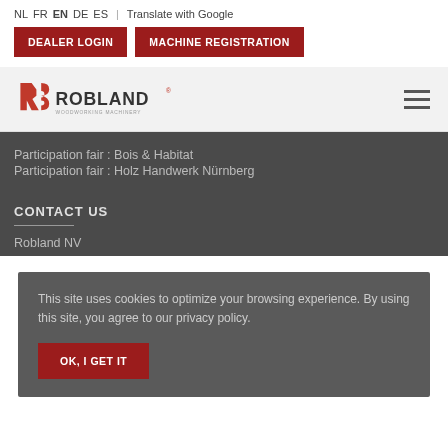NL  FR  EN  DE  ES  |  Translate with Google
[Figure (logo): Robland logo with stylized RS icon and ROBLAND text]
Participation fair : Bois & Habitat
Participation fair : Holz Handwerk Nürnberg
CONTACT US
Robland NV
This site uses cookies to optimize your browsing experience. By using this site, you agree to our privacy policy.